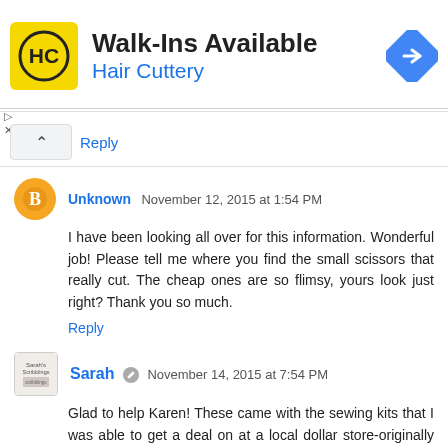[Figure (infographic): Hair Cuttery advertisement banner: yellow logo with HC letters, text 'Walk-Ins Available' and 'Hair Cuttery', and a blue diamond arrow icon on the right.]
Reply
Unknown  November 12, 2015 at 1:54 PM
I have been looking all over for this information. Wonderful job! Please tell me where you find the small scissors that really cut. The cheap ones are so flimsy, yours look just right? Thank you so much.
Reply
Sarah  November 14, 2015 at 7:54 PM
Glad to help Karen! These came with the sewing kits that I was able to get a deal on at a local dollar store-originally like $11. I might try small school scissors...